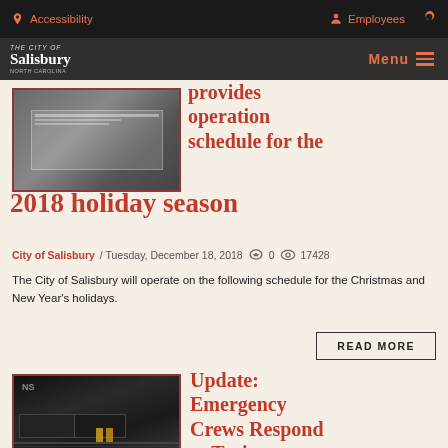Accessibility  Employees  Search  Menu
[Figure (screenshot): City of Salisbury logo and navigation header with dark overlay menu bar]
[Figure (photo): Thumbnail image showing a document or calendar with holiday schedule dates]
provides operation schedule for the 2018 holiday season
City of Salisbury / Tuesday, December 18, 2018   0   17428
The City of Salisbury will operate on the following schedule for the Christmas and New Year's holidays.
READ MORE
[Figure (photo): Photo of NS (Norfolk Southern) train locomotives at a rail yard with emergency crew workers in yellow vests]
Update: Emergency Crews Respond to Train